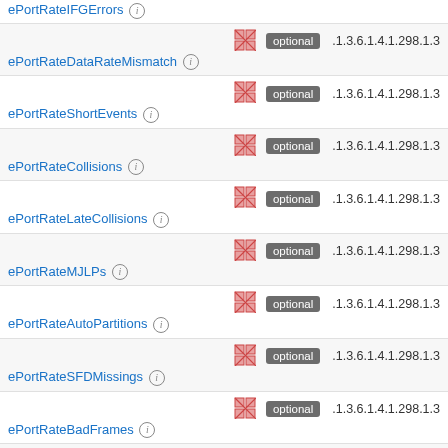| Name | Icon | Badge | OID |
| --- | --- | --- | --- |
| ePortRateIFGErrors ⓘ | [grid] |  |  |
| ePortRateDataRateMismatch ⓘ | [grid] | optional | .1.3.6.1.4.1.298.1.3 |
| ePortRateShortEvents ⓘ | [grid] | optional | .1.3.6.1.4.1.298.1.3 |
| ePortRateCollisions ⓘ | [grid] | optional | .1.3.6.1.4.1.298.1.3 |
| ePortRateLateCollisions ⓘ | [grid] | optional | .1.3.6.1.4.1.298.1.3 |
| ePortRateMJLPs ⓘ | [grid] | optional | .1.3.6.1.4.1.298.1.3 |
| ePortRateAutoPartitions ⓘ | [grid] | optional | .1.3.6.1.4.1.298.1.3 |
| ePortRateSFDMissings ⓘ | [grid] | optional | .1.3.6.1.4.1.298.1.3 |
| ePortRateBadFrames ⓘ | [grid] | optional | .1.3.6.1.4.1.298.1.3 |
| ePortRatePortIndex ⓘ | [grid] | optional | .1.3.6.1.4.1.298.1.3 |
| ... ⓘ | [grid] | optional | .1.3.6.1.4.1.298.1.3 |